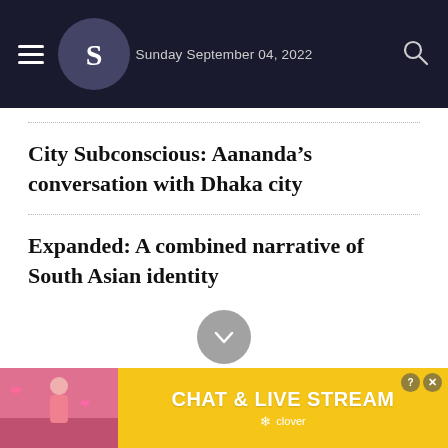Sunday September 04, 2022
City Subconscious: Aananda’s conversation with Dhaka city
Expanded: A combined narrative of South Asian identity
[Figure (infographic): Advertisement banner: Chat & Live Stream by Clover, with image of a woman on a beach with heart emojis]
CHAT & LIVE STREAM — clover